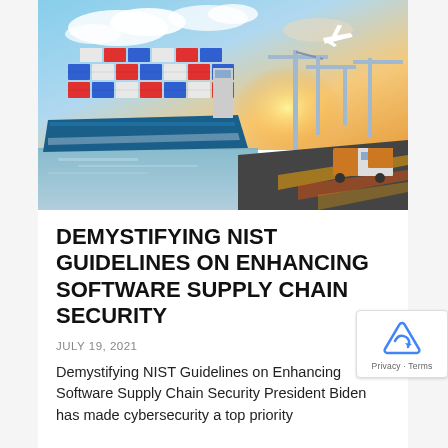[Figure (photo): Aerial view of a large cargo container ship docked at a port with colorful stacked shipping containers (red, blue, white). Port cranes visible on the right side. A commercial airplane flies in the upper right. Trucks with orange/yellow tractor units on highway in the foreground right. Dramatic sky with clouds and warm sunset lighting.]
DEMYSTIFYING NIST GUIDELINES ON ENHANCING SOFTWARE SUPPLY CHAIN SECURITY
JULY 19, 2021
Demystifying NIST Guidelines on Enhancing Software Supply Chain Security President Biden has made cybersecurity a top priority